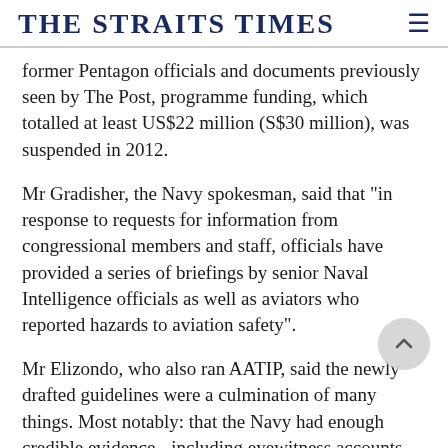THE STRAITS TIMES
former Pentagon officials and documents previously seen by The Post, programme funding, which totalled at least US$22 million (S$30 million), was suspended in 2012.
Mr Gradisher, the Navy spokesman, said that "in response to requests for information from congressional members and staff, officials have provided a series of briefings by senior Naval Intelligence officials as well as aviators who reported hazards to aviation safety".
Mr Elizondo, who also ran AATIP, said the newly drafted guidelines were a culmination of many things. Most notably: that the Navy had enough credible evidence - including eyewitness accounts